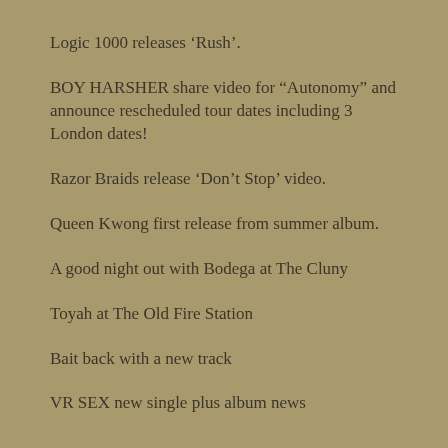Logic 1000 releases ‘Rush’.
BOY HARSHER share video for “Autonomy” and announce rescheduled tour dates including 3 London dates!
Razor Braids release ‘Don’t Stop’ video.
Queen Kwong first release from summer album.
A good night out with Bodega at The Cluny
Toyah at The Old Fire Station
Bait back with a new track
VR SEX new single plus album news